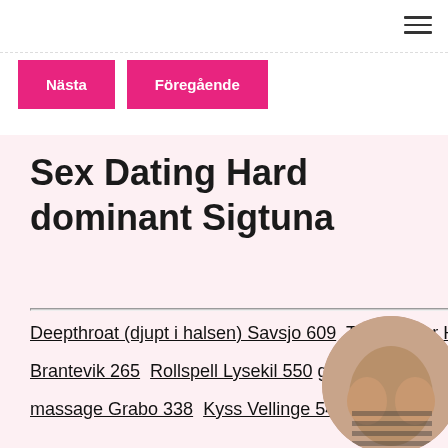Nästa
Föregående
Sex Dating Hard dominant Sigtuna
Deepthroat (djupt i halsen) Savsjo 609 Tungkyssar Hallstahammar 168 A... Brantevik 265 Rollspell Lysekil 550 g... massage Grabo 338 Kyss Vellinge 545 Sexleksaker Falkenberg 180